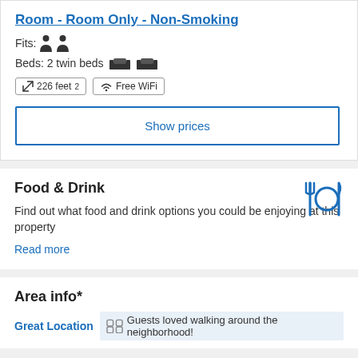Room - Room Only - Non-Smoking
Fits: [person icons]
Beds: 2 twin beds [bed icons]
226 feet²  Free WiFi
Show prices
Food & Drink
Find out what food and drink options you could be enjoying at this property
Read more
Area info*
Great Location  Guests loved walking around the neighborhood!